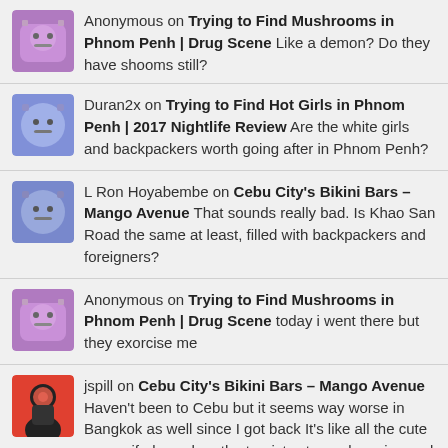Anonymous on Trying to Find Mushrooms in Phnom Penh | Drug Scene Like a demon? Do they have shooms still?
Duran2x on Trying to Find Hot Girls in Phnom Penh | 2017 Nightlife Review Are the white girls and backpackers worth going after in Phnom Penh?
L Ron Hoyabembe on Cebu City's Bikini Bars – Mango Avenue That sounds really bad. Is Khao San Road the same at least, filled with backpackers and foreigners?
Anonymous on Trying to Find Mushrooms in Phnom Penh | Drug Scene today i went there but they exorcise me
jspill on Cebu City's Bikini Bars – Mango Avenue Haven't been to Cebu but it seems way worse in Bangkok as well since I got back It's like all the cute ones wifed up when the tourists stopped coming and the money dried up, so they could get a dowry